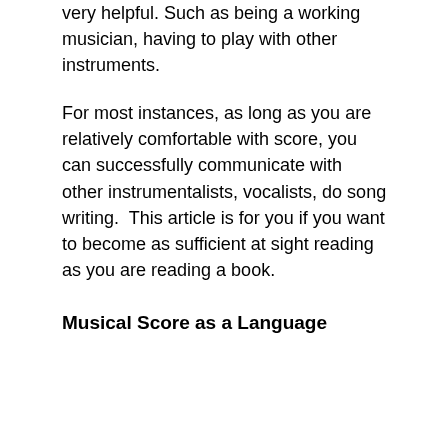very helpful. Such as being a working musician, having to play with other instruments.
For most instances, as long as you are relatively comfortable with score, you can successfully communicate with other instrumentalists, vocalists, do song writing.  This article is for you if you want to become as sufficient at sight reading as you are reading a book.
Musical Score as a Language